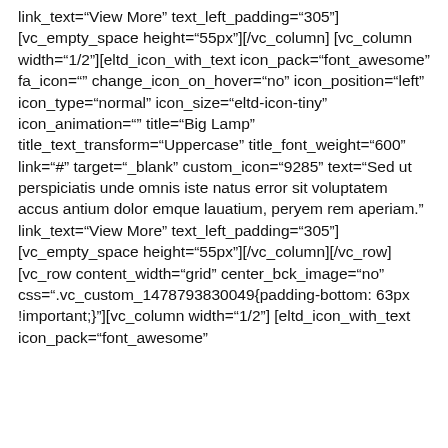link_text="View More" text_left_padding="305"] [vc_empty_space height="55px"][/vc_column] [vc_column width="1/2"][eltd_icon_with_text icon_pack="font_awesome" fa_icon="" change_icon_on_hover="no" icon_position="left" icon_type="normal" icon_size="eltd-icon-tiny" icon_animation="" title="Big Lamp" title_text_transform="Uppercase" title_font_weight="600" link="#" target="_blank" custom_icon="9285" text="Sed ut perspiciatis unde omnis iste natus error sit voluptatem accus antium dolor emque lauatium, peryem rem aperiam." link_text="View More" text_left_padding="305"] [vc_empty_space height="55px"][/vc_column][/vc_row] [vc_row content_width="grid" center_bck_image="no" css=".vc_custom_1478793830049{padding-bottom: 63px !important;}"][vc_column width="1/2"] [eltd_icon_with_text icon_pack="font_awesome"